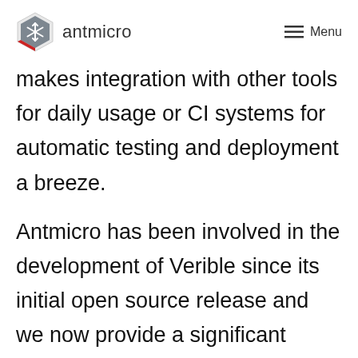antmicro | Menu
makes integration with other tools for daily usage or CI systems for automatic testing and deployment a breeze.
Antmicro has been involved in the development of Verible since its initial open source release and we now provide a significant portion of current development efforts, helping adapt it for